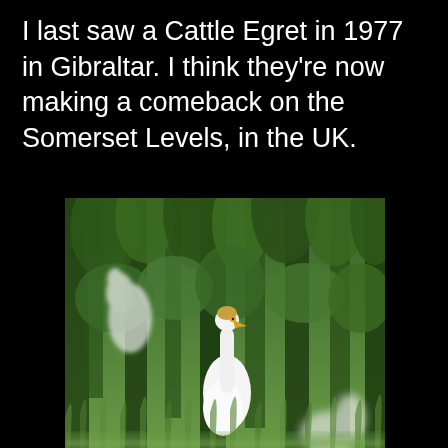I last saw a Cattle Egret in 1977 in Gibraltar. I think they're now making a comeback on the Somerset Levels, in the UK.
[Figure (photo): Photograph of Cattle Egrets (white birds with golden-buff heads) among dense green vegetation. Multiple white birds are visible among tall green plants and grasses, with one bird looking directly at the camera.]